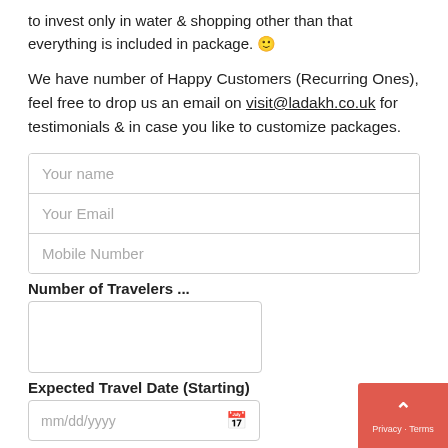to invest only in water & shopping other than that everything is included in package. 🙂
We have number of Happy Customers (Recurring Ones), feel free to drop us an email on visit@ladakh.co.uk for testimonials & in case you like to customize packages.
Your name (form field)
Your Email (form field)
Mobile Number (form field)
Number of Travelers ...
Expected Travel Date (Starting)
mm/dd/yyyy (date field)